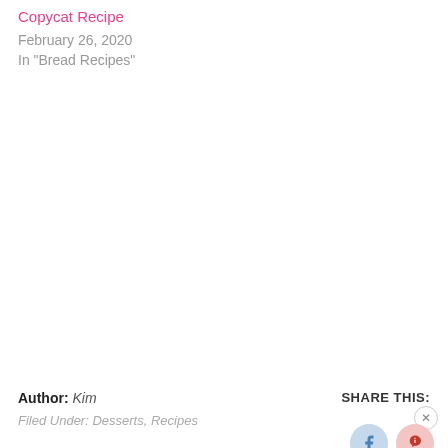Copycat Recipe
February 26, 2020
In "Bread Recipes"
Author: Kim
Filed Under: Desserts, Recipes
SHARE THIS: